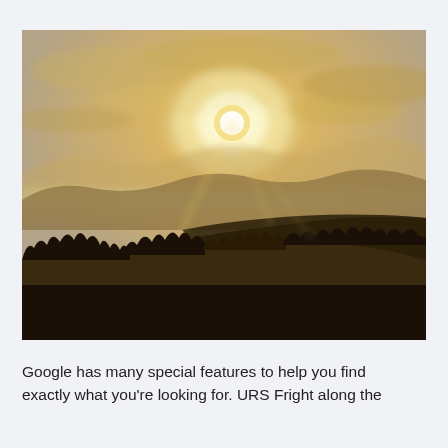[Figure (photo): Sepia-toned landscape photograph showing a misty mountain scene at sunset or sunrise. Dark silhouetted forested hills in the foreground, layers of mountains in the background with fog in the valleys, and a bright sun visible through hazy golden clouds.]
Google has many special features to help you find exactly what you're looking for. URS Fright along the